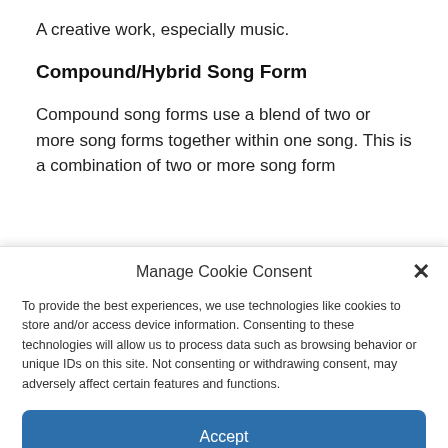A creative work, especially music.
Compound/Hybrid Song Form
Compound song forms use a blend of two or more song forms together within one song. This is a combination of two or more song form
Manage Cookie Consent
To provide the best experiences, we use technologies like cookies to store and/or access device information. Consenting to these technologies will allow us to process data such as browsing behavior or unique IDs on this site. Not consenting or withdrawing consent, may adversely affect certain features and functions.
Accept
Cookie Policy   Privacy Policy